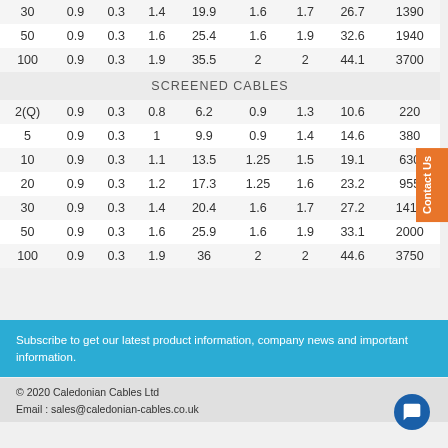|  | 0.9 | 0.3 |  |  |  |  |  |  |
| --- | --- | --- | --- | --- | --- | --- | --- | --- |
| 30 | 0.9 | 0.3 | 1.4 | 19.9 | 1.6 | 1.7 | 26.7 | 1390 |
| 50 | 0.9 | 0.3 | 1.6 | 25.4 | 1.6 | 1.9 | 32.6 | 1940 |
| 100 | 0.9 | 0.3 | 1.9 | 35.5 | 2 | 2 | 44.1 | 3700 |
| SCREENED CABLES |
| 2(Q) | 0.9 | 0.3 | 0.8 | 6.2 | 0.9 | 1.3 | 10.6 | 220 |
| 5 | 0.9 | 0.3 | 1 | 9.9 | 0.9 | 1.4 | 14.6 | 380 |
| 10 | 0.9 | 0.3 | 1.1 | 13.5 | 1.25 | 1.5 | 19.1 | 630 |
| 20 | 0.9 | 0.3 | 1.2 | 17.3 | 1.25 | 1.6 | 23.2 | 955 |
| 30 | 0.9 | 0.3 | 1.4 | 20.4 | 1.6 | 1.7 | 27.2 | 1415 |
| 50 | 0.9 | 0.3 | 1.6 | 25.9 | 1.6 | 1.9 | 33.1 | 2000 |
| 100 | 0.9 | 0.3 | 1.9 | 36 | 2 | 2 | 44.6 | 3750 |
Subscribe to get our latest product information, company news and important information.
© 2020 Caledonian Cables Ltd
Email : sales@caledonian-cables.co.uk